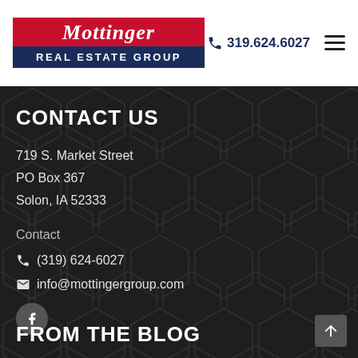[Figure (logo): Mottinger Real Estate Group logo with red top bar and dark blue bottom bar]
319.624.6027
CONTACT US
719 S. Market Street
PO Box 367
Solon, IA 52333
Contact
(319) 624-6027
info@mottingergroup.com
FROM THE BLOG